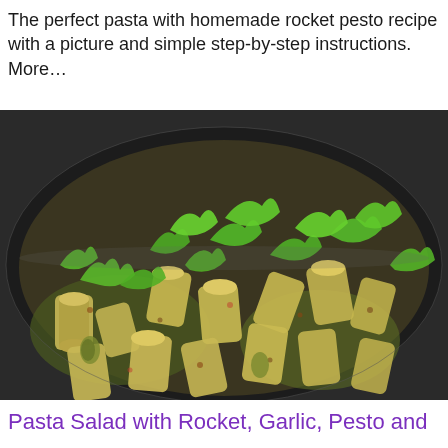The perfect pasta with homemade rocket pesto recipe with a picture and simple step-by-step instructions. More…
[Figure (photo): A dark skillet/pan filled with rigatoni pasta tossed with rocket (arugula) leaves, pesto, and spices. The dish is garnished with fresh rocket leaves on top.]
Pasta Salad with Rocket, Garlic, Pesto and